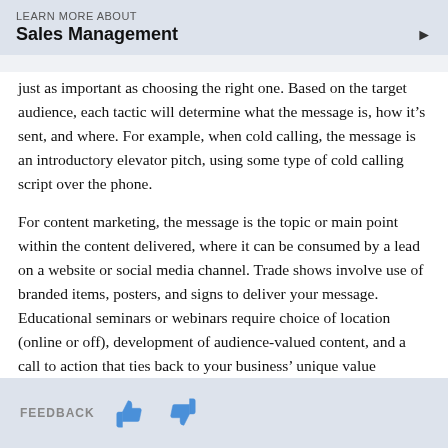LEARN MORE ABOUT
Sales Management
just as important as choosing the right one. Based on the target audience, each tactic will determine what the message is, how it’s sent, and where. For example, when cold calling, the message is an introductory elevator pitch, using some type of cold calling script over the phone.
For content marketing, the message is the topic or main point within the content delivered, where it can be consumed by a lead on a website or social media channel. Trade shows involve use of branded items, posters, and signs to deliver your message. Educational seminars or webinars require choice of location (online or off), development of audience-valued content, and a call to action that ties back to your business’ unique value proposition or offerings.
FEEDBACK